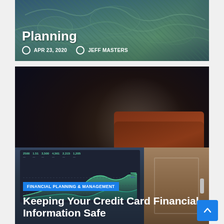[Figure (photo): World map background with article card showing date APR 23, 2020 and author JEFF MASTERS, title partially cut off showing 'Planning']
Planning
APR 23, 2020   JEFF MASTERS
[Figure (photo): Dark background with leather wallet on wooden surface, overlaid with article card]
FINANCIAL PLANNING & MANAGEMENT
Steps to Help You Get Out of Debt
JAN 28, 2020   JEFF MASTERS
[Figure (photo): Tablet showing financial dashboard with chart, wooden door in background, overlaid with article card]
FINANCIAL PLANNING & MANAGEMENT
Keeping Your Credit Card Financial Information Safe